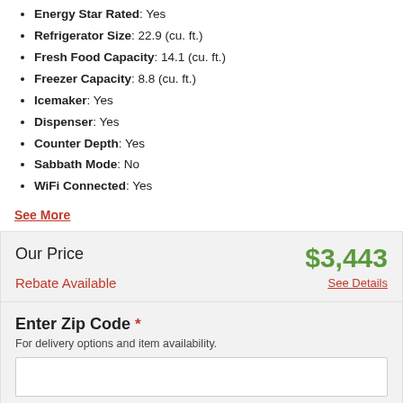Energy Star Rated: Yes
Refrigerator Size: 22.9 (cu. ft.)
Fresh Food Capacity: 14.1 (cu. ft.)
Freezer Capacity: 8.8 (cu. ft.)
Icemaker: Yes
Dispenser: Yes
Counter Depth: Yes
Sabbath Mode: No
WiFi Connected: Yes
See More
Our Price $3,443 Rebate Available See Details
Enter Zip Code * For delivery options and item availability.
- 1 +